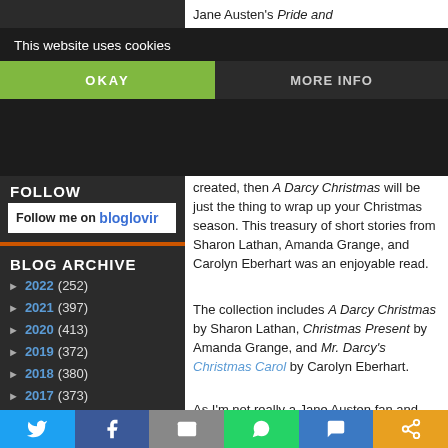This website uses cookies
OKAY
MORE INFO
FOLLOW
Follow me on bloglovin
BLOG ARCHIVE
► 2022 (252)
► 2021 (397)
► 2020 (413)
► 2019 (372)
► 2018 (380)
► 2017 (373)
Jane Austen's Pride and Prejudice and enjoy the creative license that authors have taken with the universe she created, then A Darcy Christmas will be just the thing to wrap up your Christmas season. This treasury of short stories from Sharon Lathan, Amanda Grange, and Carolyn Eberhart was an enjoyable read.
The collection includes A Darcy Christmas by Sharon Lathan, Christmas Present by Amanda Grange, and Mr. Darcy's Christmas Carol by Carolyn Eberhart.
As I'm not really a Jane Austen fan and have not read Pride and Prejudice, but I did watch the BBC's 1995 production of Pride and Prejudice. Based on that "research" I feel that